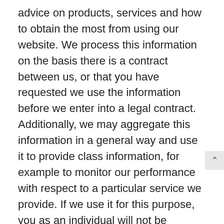advice on products, services and how to obtain the most from using our website. We process this information on the basis there is a contract between us, or that you have requested we use the information before we enter into a legal contract. Additionally, we may aggregate this information in a general way and use it to provide class information, for example to monitor our performance with respect to a particular service we provide. If we use it for this purpose, you as an individual will not be personally identifiable.  We shall continue to process this information until the contract between us ends or is terminated by either party under the terms of the contract.
2. Information we process with your consent. Through certain actions when otherwise there is no contractual relationship between us, such as when you browse our website or ask us to provide you more information